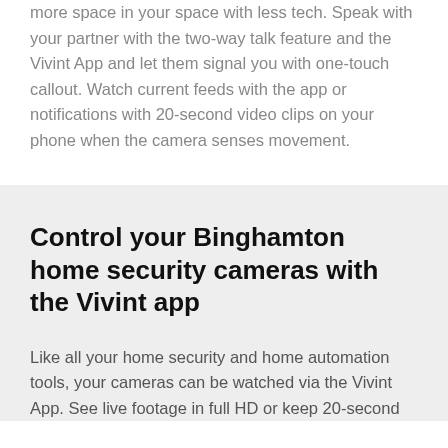more space in your space with less tech. Speak with your partner with the two-way talk feature and the Vivint App and let them signal you with one-touch callout. Watch current feeds with the app or notifications with 20-second video clips on your phone when the camera senses movement.
Control your Binghamton home security cameras with the Vivint app
Like all your home security and home automation tools, your cameras can be watched via the Vivint App. See live footage in full HD or keep 20-second